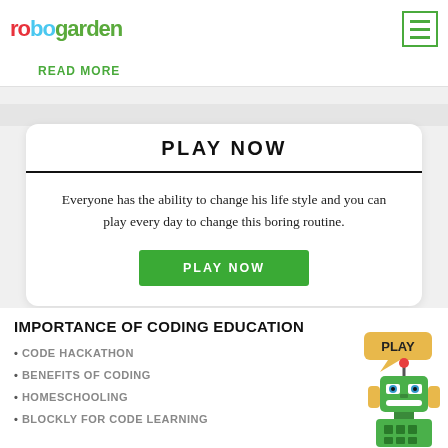robo garden
READ MORE
PLAY NOW
Everyone has the ability to change his life style and you can play every day to change this boring routine.
PLAY NOW
IMPORTANCE OF CODING EDUCATION
CODE HACKATHON
BENEFITS OF CODING
HOMESCHOOLING
BLOCKLY FOR CODE LEARNING
[Figure (illustration): Cartoon robot character with speech bubble saying PLAY]